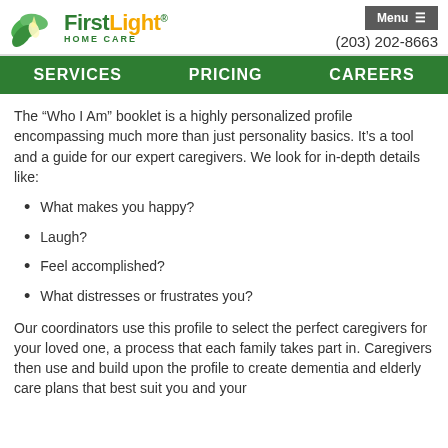[Figure (logo): FirstLight Home Care logo with green leaf design]
Menu  ≡
(203) 202-8663
SERVICES    PRICING    CAREERS
The “Who I Am” booklet is a highly personalized profile encompassing much more than just personality basics. It’s a tool and a guide for our expert caregivers. We look for in-depth details like:
What makes you happy?
Laugh?
Feel accomplished?
What distresses or frustrates you?
Our coordinators use this profile to select the perfect caregivers for your loved one, a process that each family takes part in. Caregivers then use and build upon the profile to create dementia and elderly care plans that best suit you and your